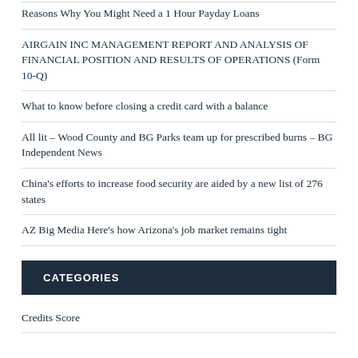Reasons Why You Might Need a 1 Hour Payday Loans
AIRGAIN INC MANAGEMENT REPORT AND ANALYSIS OF FINANCIAL POSITION AND RESULTS OF OPERATIONS (Form 10-Q)
What to know before closing a credit card with a balance
All lit – Wood County and BG Parks team up for prescribed burns – BG Independent News
China's efforts to increase food security are aided by a new list of 276 states
AZ Big Media Here's how Arizona's job market remains tight
CATEGORIES
Credits Score